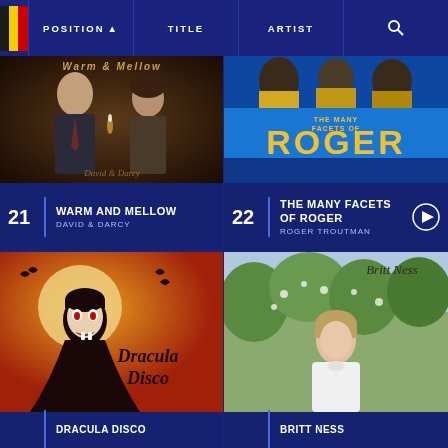POSITION  TITLE  ARTIST  [Search]
[Figure (photo): Album cover for Warm and Mellow by David & Darcy showing two people on a dark background]
21 | WARM AND MELLOW
DAVID & DARCY
[Figure (photo): Album cover for The Many Facets of Roger by Roger Troutman showing three performers in gold outfits with blue text ROGER]
22 | THE MANY FACETS OF ROGER
ROGER TROUTMAN
[Figure (photo): Album cover for Dracula Disco showing horror illustration of Dracula with bats on orange/red background]
DRACULA DISCO
[Figure (photo): Album cover for Britt Ness showing a woman outdoors with trees in the background]
BRITT NESS